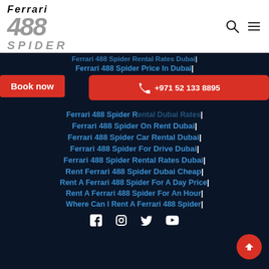[Figure (logo): Ferrari 488 Spider logo with stylized text in grey/black italic]
Ferrari 488 Spider Price In Dubai|
Rent A Ferrari 488 Spider|
Ferrari 488 Spider Rental Rates Dubai|
Ferrari 488 Spider On Rent Dubai|
Ferrari 488 Spider Car Rental Dubai|
Ferrari 488 Spider For Drive Dubai|
Ferrari 488 Spider Rental Rates Dubai|
Rent Ferrari 488 Spider Dubai Cheap|
Rent A Ferrari 488 Spider For A Day Price|
Rent A Ferrari 488 Spider For An Hour|
Where Can I Rent A Ferrari 488 Spider|